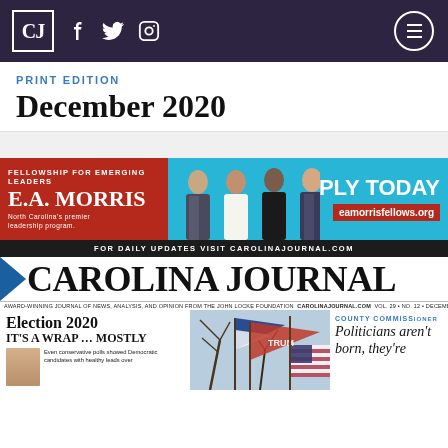CJ [logo] [facebook] [twitter] [instagram] [menu]
PRINT EDITION
December 2020
[Figure (illustration): E.A. Morris Fellowship for Emerging Leaders advertisement banner. Left side red background with white text: 'E.A. MORRIS FELLOWSHIP FOR EMERGING LEADERS' and 'North Carolina's premier leadership program.' Center cyan background with photo of four professionals. Right side: 'APPLY TODAY' in white bold text, red banner with 'eamorrisfellows.o[rg]']
FOR DAILY UPDATES VISIT CAROLINAJOURNAL.COM
[Figure (logo): Carolina Journal masthead logo with blue triangle and bold serif text 'CAROLINA JOURNAL']
AWARD-WINNING JOURNAL OF NEWS, ANALYSIS, AND OPINION FROM THE JOHN LOCKE FOUNDATION  CAROLINAJOURNAL.COM  VOL. 29 • NO. 12 • DECEMBER 2020 • STATEWIDE
Election 2020
IT'S A WRAP ... MOSTLY
Even conservative polls showed Democratic candidates with healthy leads over
[Figure (photo): Photo of Trump flags and American flags being waved outdoors]
COUNTY COMMISS[IONER]
Politicians aren't born, they're